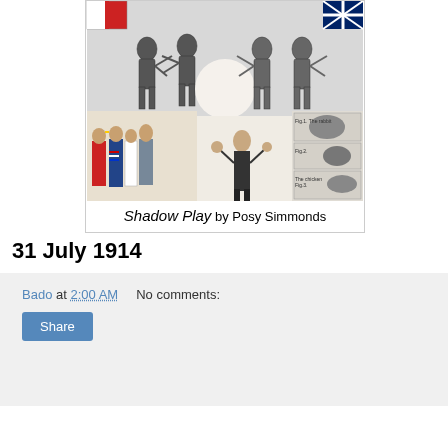[Figure (illustration): A comic/cartoon illustration titled 'Shadow Play by Posy Simmonds' showing military and political figures in various scenes including soldiers and shadow puppet demonstrations, with flags of Austria and Britain visible.]
Shadow Play by Posy Simmonds
31 July 1914
Bado at 2:00 AM    No comments: